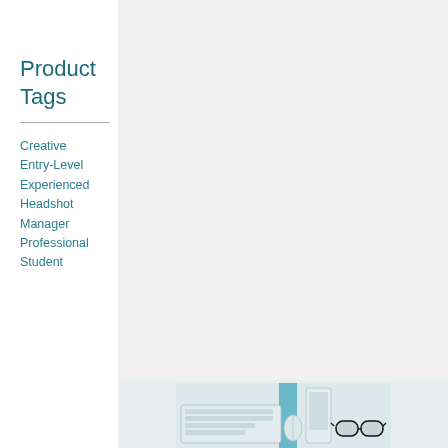Product Tags
Creative
Entry-Level
Experienced
Headshot
Manager
Professional
Student
[Figure (photo): Desk flatlay photo showing a white keyboard, phone/tablet, teal notebook, and glasses on a light background, partially visible at bottom of page.]